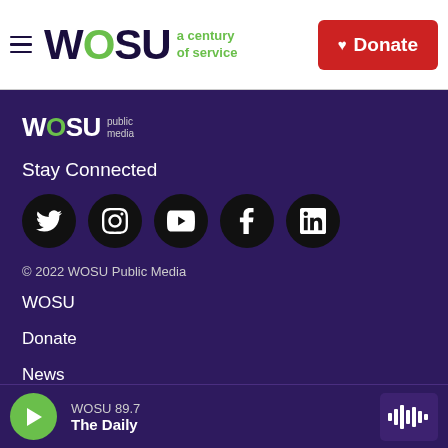WOSU a century of service | Donate
[Figure (logo): WOSU Public Media logo in footer with white wordmark and green O]
Stay Connected
[Figure (infographic): Social media icons: Twitter, Instagram, YouTube, Facebook, LinkedIn — black circles with white icons]
© 2022 WOSU Public Media
WOSU
Donate
News
WOSU 89.7 | The Daily